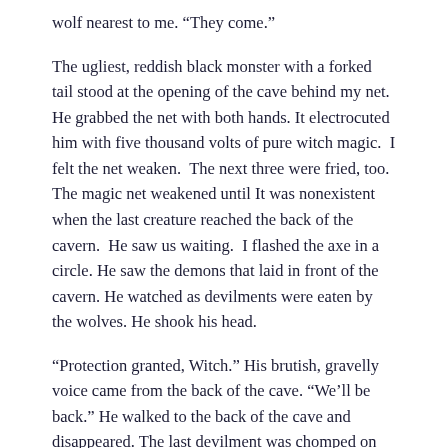wolf nearest to me. “They come.”
The ugliest, reddish black monster with a forked tail stood at the opening of the cave behind my net. He grabbed the net with both hands. It electrocuted him with five thousand volts of pure witch magic. I felt the net weaken. The next three were fried, too. The magic net weakened until It was nonexistent when the last creature reached the back of the cavern. He saw us waiting. I flashed the axe in a circle. He saw the demons that laid in front of the cavern. He watched as devilments were eaten by the wolves. He shook his head.
“Protection granted, Witch.” His brutish, gravelly voice came from the back of the cave. “We’ll be back.” He walked to the back of the cave and disappeared. The last devilment was chomped on by the wolf closest to me.